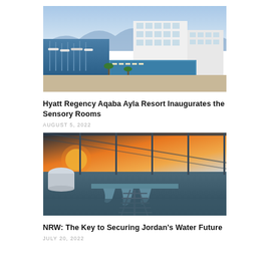[Figure (photo): Aerial view of Hyatt Regency Aqaba Ayla Resort showing the pool area, marina with docked boats, and hotel building with mountain backdrop]
Hyatt Regency Aqaba Ayla Resort Inaugurates the Sensory Rooms
AUGUST 5, 2022
[Figure (photo): Industrial water treatment facility with water cascading over infrastructure, evening/sunset light, metal framework overhead]
NRW: The Key to Securing Jordan's Water Future
JULY 20, 2022